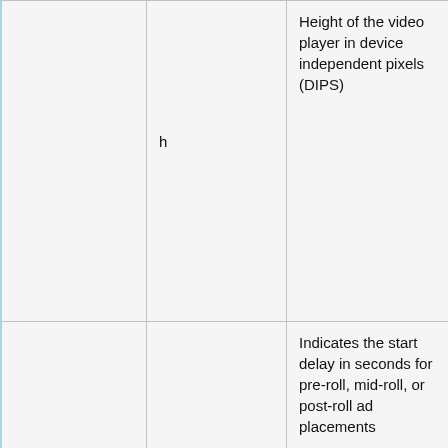|  | Name | Description | Examples/Notes |
| --- | --- | --- | --- |
|  | h | Height of the video player in device independent pixels (DIPS) |  |
|  | startdelay | Indicates the start delay in seconds for pre-roll, mid-roll, or post-roll ad placements |  |
|  |  | Indicates if the impression must be linear, | Examples:
LINEAR = 1: Linear/In- |